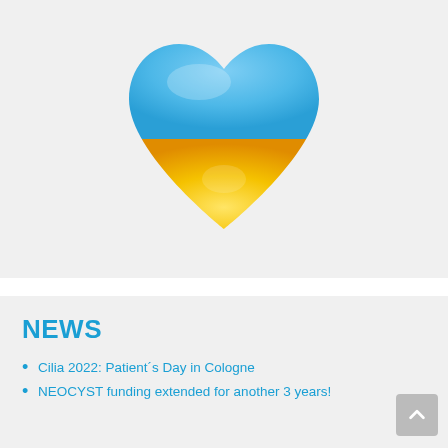[Figure (illustration): A large heart emoji styled with Ukrainian flag colors — blue on the upper half and yellow/gold on the lower half — displayed on a light gray background.]
NEWS
Cilia 2022: Patient´s Day in Cologne
NEOCYST funding extended for another 3 years!